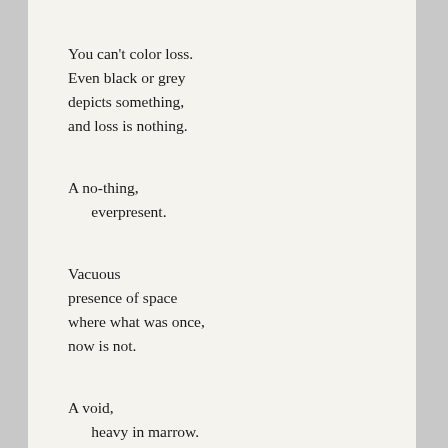You can't color loss.
Even black or grey
depicts something,
and loss is nothing.

A no-thing,
      everpresent.

Vacuous
presence of space
where what was once,
now is not.

A void,
      heavy in marrow.

This is loss,
a colorless page.
No hue can convey
the intrinsic value of empty.

An abyss
      with depth.

She no longer paints her lips
they remain a barren landscape,